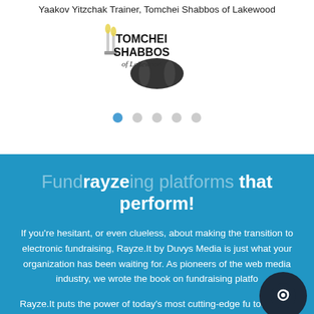Yaakov Yitzchak Trainer, Tomchei Shabbos of Lakewood
[Figure (logo): Tomchei Shabbos of Lakewood logo with candles and text]
[Figure (infographic): Carousel navigation dots, first dot active (blue), four inactive (gray)]
Fundrayzeing platforms that perform!
If you're hesitant, or even clueless, about making the transition to electronic fundraising, Rayze.It by Duvys Media is just what your organization has been waiting for. As pioneers of the web media industry, we wrote the book on fundraising platfo...
Rayze.It puts the power of today's most cutting-edge fu... tools right at your fingertips, no matter how un-tech savvy you